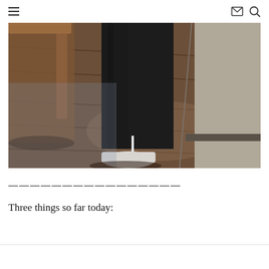≡  ✉ 🔍
[Figure (photo): Close-up photo of a person's lower legs wearing black pants with a small reflective strip near the cuff, standing on a dark wood laminate floor near a wall, with a wooden stool visible on the left.]
——————————————
Three things so far today: